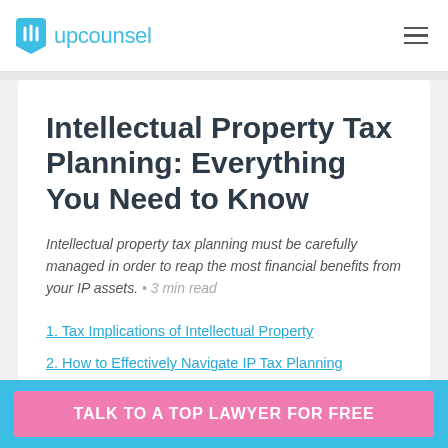upcounsel
Intellectual Property Tax Planning: Everything You Need to Know
Intellectual property tax planning must be carefully managed in order to reap the most financial benefits from your IP assets. • 3 min read
1. Tax Implications of Intellectual Property
2. How to Effectively Navigate IP Tax Planning
TALK TO A TOP LAWYER FOR FREE